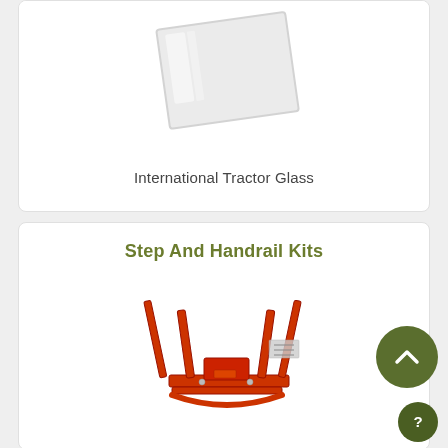[Figure (photo): A pane of tractor glass shown at an angle, light gray/transparent]
International Tractor Glass
Step And Handrail Kits
[Figure (photo): Red metal step and handrail kit components laid out showing rails, steps, and hardware]